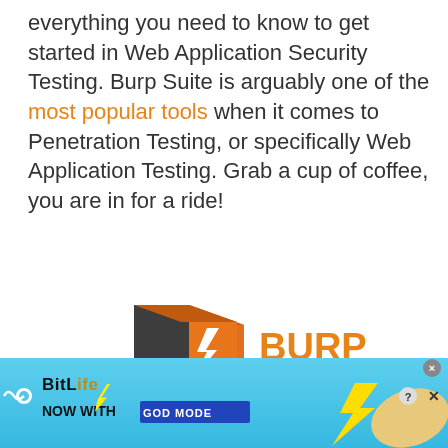everything you need to know to get started in Web Application Security Testing. Burp Suite is arguably one of the most popular tools when it comes to Penetration Testing, or specifically Web Application Testing. Grab a cup of coffee, you are in for a ride!
[Figure (logo): Burp Suite logo — a dark grey and orange 3D cube with a lightning bolt symbol, next to the text BURPSUITE in orange and dark grey]
[Figure (infographic): BitLife advertisement banner with cyan/blue background, BitLife logo, 'NOW WITH GOD MODE' text, lightning bolt, and pointing hand graphics]